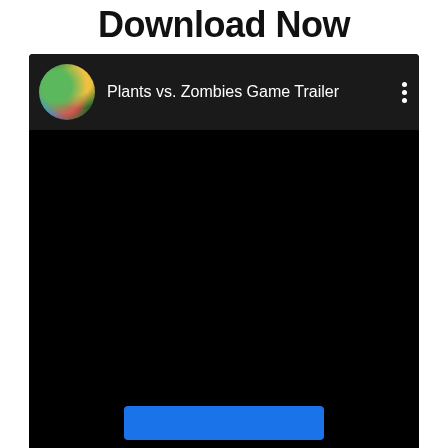Download Now
[Figure (screenshot): An embedded video player showing 'Plants vs. Zombies Game Trailer' with a circular game art thumbnail on the left, white title text, and a vertical three-dot menu on the right. The main video area is entirely black.]
[Figure (other): A dark scroll-to-top button with a triangular arrow icon pointing upward, positioned in the lower right area of the page. A horizontal divider line runs to its left.]